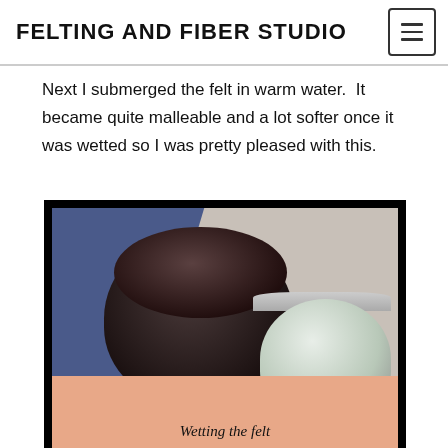FELTING AND FIBER STUDIO
Next I submerged the felt in warm water.  It became quite malleable and a lot softer once it was wetted so I was pretty pleased with this.
[Figure (photo): Photo of dark mushroom-shaped felting tool and a small jar/container on blue fabric and a salmon-colored surface, with text overlay 'Wetting the felt']